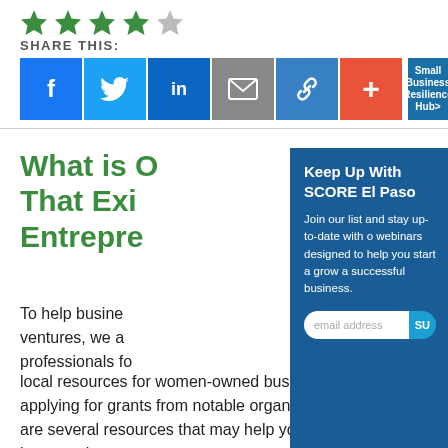[Figure (illustration): 5 star rating icons: 4 green filled stars and 1 grey/unfilled star]
SHARE THIS:
[Figure (infographic): Social share buttons: Facebook (blue), Twitter (light blue), LinkedIn (dark blue), Email (grey), Link (blue), Plus/More (orange-red), and a 'Small Business Resilience Hub>' button (dark blue)]
What is O[ne That Exi[sts for] Entrepre[neurs]
To help busine[sses and] ventures, we a[dvise] professionals fo[r] local resources for women-owned businesses to applying for grants from notable organizations, there are several resources that may help you finance your latest project.
[Figure (infographic): Popup newsletter signup for SCORE El Paso: 'Keep Up With SCORE El Paso' heading, text 'Join our list and stay up-to-date with o[ur] webinars designed to help you start a[nd] grow a successful business.' with email address input field and SUBMIT button on dark blue background]